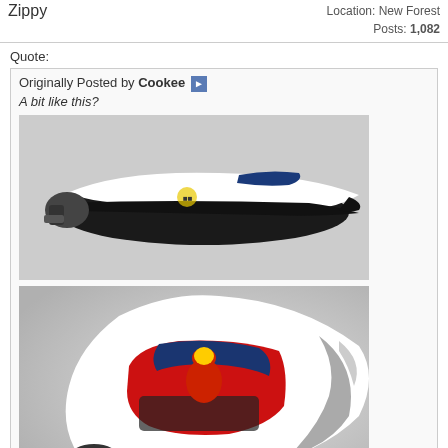Zippy | Location: New Forest | Posts: 1,082
Quote:
Originally Posted by Cookee
A bit like this?
[Figure (photo): Side profile view of a white and black racing speedboat with outboard motor, on a grey background]
[Figure (photo): Top-down view of a white racing speedboat showing open cockpit with red interior and driver in red suit, on a grey background]